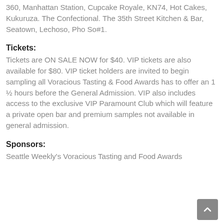360, Manhattan Station, Cupcake Royale, KN74, Hot Cakes, Kukuruza. The Confectional. The 35th Street Kitchen & Bar, Seatown, Lechoso, Pho So#1.
Tickets:
Tickets are ON SALE NOW for $40. VIP tickets are also available for $80. VIP ticket holders are invited to begin sampling all Voracious Tasting & Food Awards has to offer an 1 ½ hours before the General Admission. VIP also includes access to the exclusive VIP Paramount Club which will feature a private open bar and premium samples not available in general admission.
Sponsors:
Seattle Weekly's Voracious Tasting and Food Awards